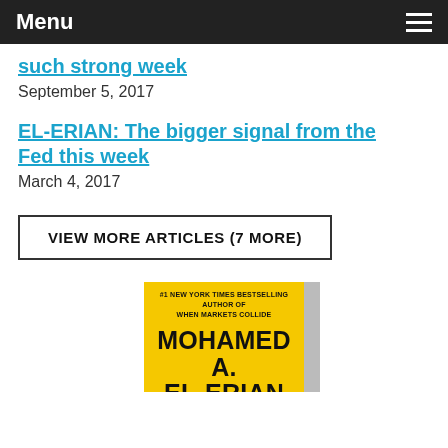Menu
such strong week
September 5, 2017
EL-ERIAN: The bigger signal from the Fed this week
March 4, 2017
VIEW MORE ARTICLES (7 MORE)
[Figure (photo): Book cover showing yellow cover with text '#1 New York Times Bestselling Author of When Markets Collide' and author name 'MOHAMED A. EL-ERIAN' partially visible]